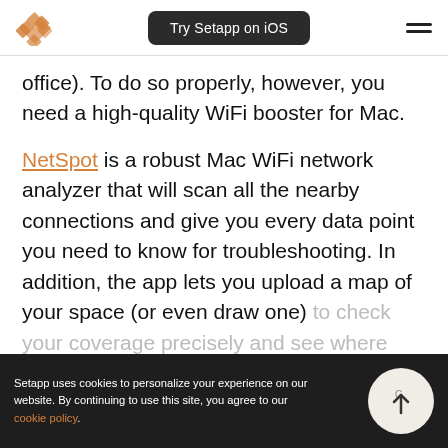Try Setapp on iOS
office). To do so properly, however, you need a high-quality WiFi booster for Mac.
NetSpot is a robust Mac WiFi network analyzer that will scan all the nearby connections and give you every data point you need to know for troubleshooting. In addition, the app lets you upload a map of your space (or even draw one) to check your coverage precisely and see where
Setapp uses cookies to personalize your experience on our website. By continuing to use this site, you agree to our cookie policy.